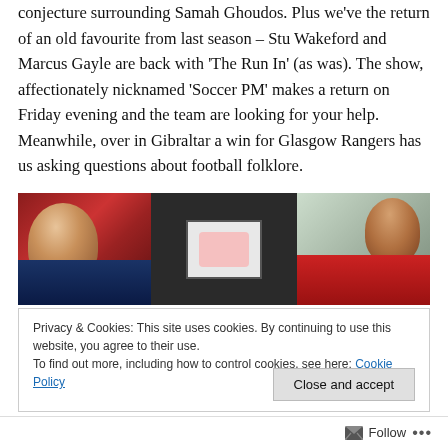conjecture surrounding Samah Ghoudos. Plus we've the return of an old favourite from last season – Stu Wakeford and Marcus Gayle are back with 'The Run In' (as was). The show, affectionately nicknamed 'Soccer PM' makes a return on Friday evening and the team are looking for your help. Meanwhile, over in Gibraltar a win for Glasgow Rangers has us asking questions about football folklore.
[Figure (photo): Composite photo of three panels: left panel shows a man with reddish background (football/soccer scene), middle panel shows a TV screen displaying animated cartoon-style football players, right panel shows a young child with a man in dark clothing.]
Privacy & Cookies: This site uses cookies. By continuing to use this website, you agree to their use.
To find out more, including how to control cookies, see here: Cookie Policy
Follow